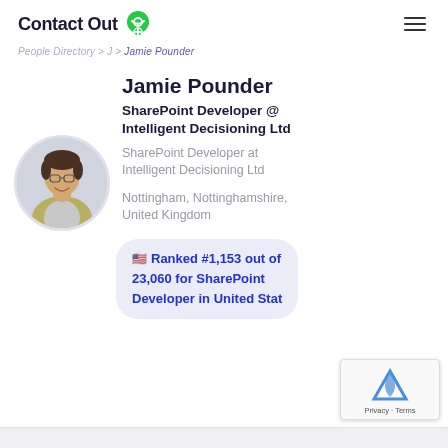ContactOut
People Directory > J > Jamie Pounder
Jamie Pounder
SharePoint Developer @ Intelligent Decisioning Ltd
SharePoint Developer at Intelligent Decisioning Ltd
Nottingham, Nottinghamshire, United Kingdom
[Figure (photo): Profile photo of Jamie Pounder, a young man smiling, wearing glasses and a plaid shirt]
Ranked #1,153 out of 23,060 for SharePoint Developer in United States